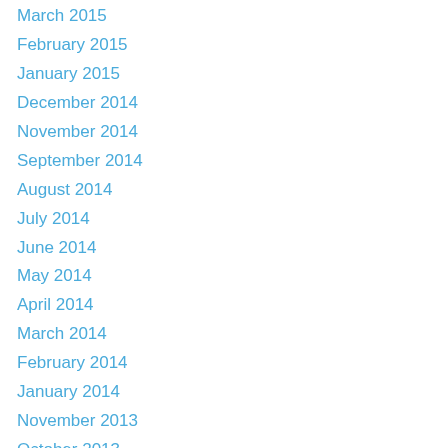March 2015
February 2015
January 2015
December 2014
November 2014
September 2014
August 2014
July 2014
June 2014
May 2014
April 2014
March 2014
February 2014
January 2014
November 2013
October 2013
August 2013
June 2013
May 2013
April 2013